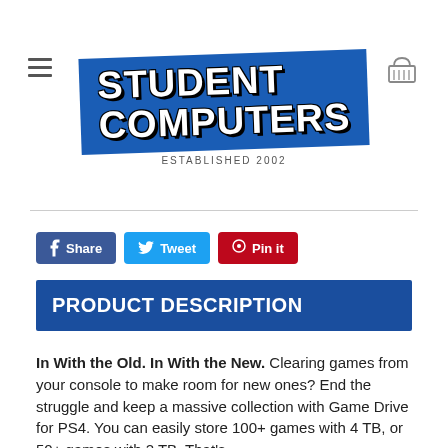[Figure (logo): Student Computers logo — blue diagonal banner with white bold text 'STUDENT COMPUTERS' and black outline, with 'ESTABLISHED 2002' below]
Share  Tweet  Pin it
PRODUCT DESCRIPTION
In With the Old. In With the New. Clearing games from your console to make room for new ones? End the struggle and keep a massive collection with Game Drive for PS4. You can easily store 100+ games with 4 TB, or 50+ games with 2 TB. That's